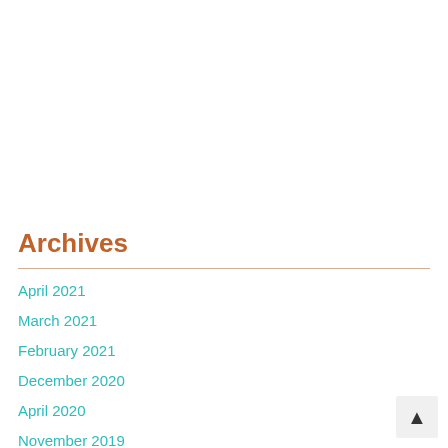Archives
April 2021
March 2021
February 2021
December 2020
April 2020
November 2019